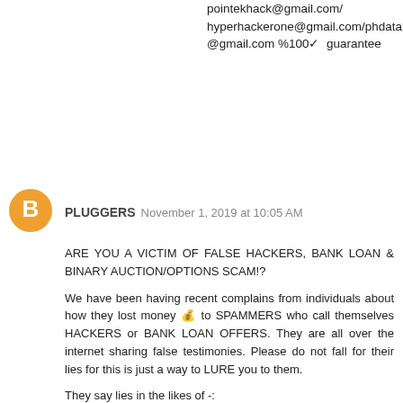pointekhack@gmail.com/ hyperhackerone@gmail.com/phdatabasesolution@gmail.com %100✓  guarantee
[Figure (illustration): Orange circular Blogger avatar icon with white 'B' letter]
PLUGGERS  November 1, 2019 at 10:05 AM
ARE YOU A VICTIM OF FALSE HACKERS, BANK LOAN & BINARY AUCTION/OPTIONS SCAM!?
We have been having recent complains from individuals about how they lost money 💰 to SPAMMERS who call themselves HACKERS or BANK LOAN OFFERS. They are all over the internet sharing false testimonies. Please do not fall for their lies for this is just a way to LURE you to them.
They say lies in the likes of -:
▪Bitcoin Auction/Options ▪Western Union Hack
▪Blank Credit Card ▪Clearing Criminal Records
▪Loan Offers. ▪Bank Account Loading